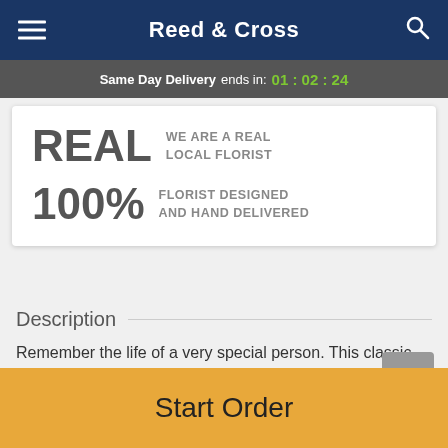Reed & Cross
Same Day Delivery ends in: 01:02:24
REAL WE ARE A REAL LOCAL FLORIST
100% FLORIST DESIGNED AND HAND DELIVERED
Description
Remember the life of a very special person. This classic heart-shaped sympathy wreath is sure to be appreciated
Start Order